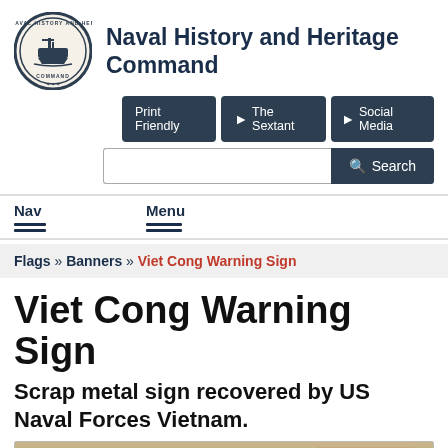[Figure (logo): Naval History and Heritage Command circular seal/logo with ship in center]
Naval History and Heritage Command
[Figure (screenshot): Navigation buttons: Print Friendly, The Sextant, Social Media, and Search bar]
Nav    Menu
Flags » Banners » Viet Cong Warning Sign
Viet Cong Warning Sign
Scrap metal sign recovered by US Naval Forces Vietnam.
[Figure (photo): Partial view of a scrap metal sign at the bottom of the page]